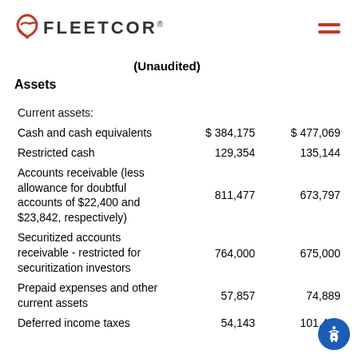FLEETCOR
(Unaudited)
Assets
|  | Col1 | Col2 |
| --- | --- | --- |
| Current assets: |  |  |
| Cash and cash equivalents | $384,175 | $477,069 |
| Restricted cash | 129,354 | 135,144 |
| Accounts receivable (less allowance for doubtful accounts of $22,400 and $23,842, respectively) | 811,477 | 673,797 |
| Securitized accounts receivable - restricted for securitization investors | 764,000 | 675,000 |
| Prepaid expenses and other current assets | 57,857 | 74,889 |
| Deferred income taxes | 54,143 | 101,451 |